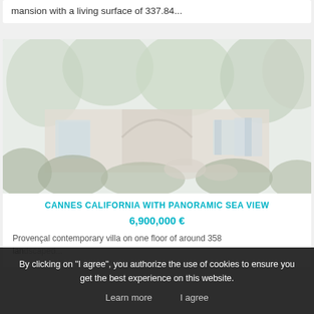mansion with a living surface of 337.84...
[Figure (photo): Exterior photo of a Provençal contemporary villa with lush greenery, trees, and architectural details, faded/washed-out appearance]
CANNES CALIFORNIA WITH PANORAMIC SEA VIEW
6,900,000 €
Provençal contemporary villa on one floor of around 358... landscaped...
By clicking on "I agree", you authorize the use of cookies to ensure you get the best experience on this website.
Learn more    I agree